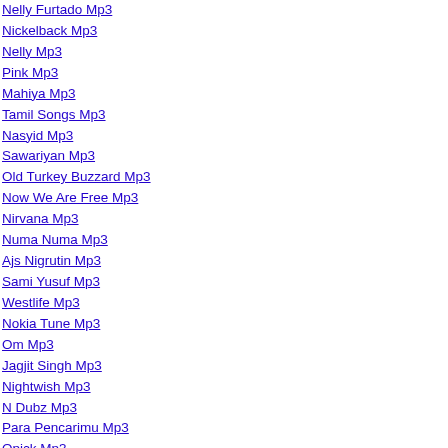Nelly Furtado Mp3
Nickelback Mp3
Nelly Mp3
Pink Mp3
Mahiya Mp3
Tamil Songs Mp3
Nasyid Mp3
Sawariyan Mp3
Old Turkey Buzzard Mp3
Now We Are Free Mp3
Nirvana Mp3
Numa Numa Mp3
Ajs Nigrutin Mp3
Sami Yusuf Mp3
Westlife Mp3
Nokia Tune Mp3
Om Mp3
Jagjit Singh Mp3
Nightwish Mp3
N Dubz Mp3
Para Pencarimu Mp3
Opick Mp3
Anup Jalota Mp3
Bad Boys Mp3
Phil Collins Mp3
Papaya Mp3